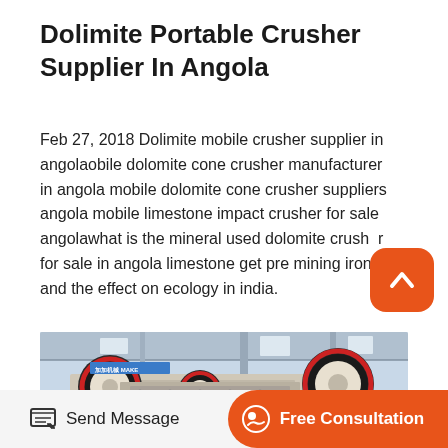Dolimite Portable Crusher Supplier In Angola
Feb 27, 2018 Dolimite mobile crusher supplier in angolaobile dolomite cone crusher manufacturer in angola mobile dolomite cone crusher suppliers angola mobile limestone impact crusher for sale angolawhat is the mineral used dolomite crusher for sale in angola limestone get pre mining iron and the effect on ecology in india.
[Figure (photo): Industrial jaw crusher machine with large red-rimmed wheels inside a factory building]
Send Message
Free Consultation